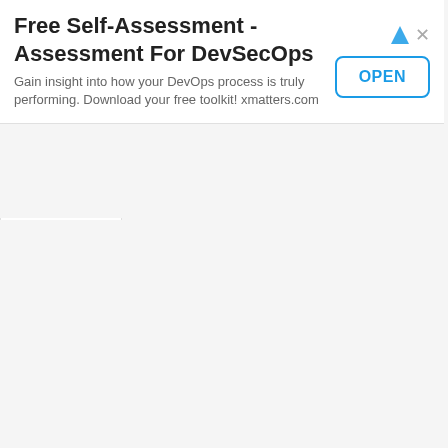Free Self-Assessment - Assessment For DevSecOps
Gain insight into how your DevOps process is truly performing. Download your free toolkit! xmatters.com
[Figure (other): OPEN button — blue outlined rounded rectangle button with 'OPEN' text in blue]
[Figure (other): Collapse/chevron-up tab button at bottom of ad banner]